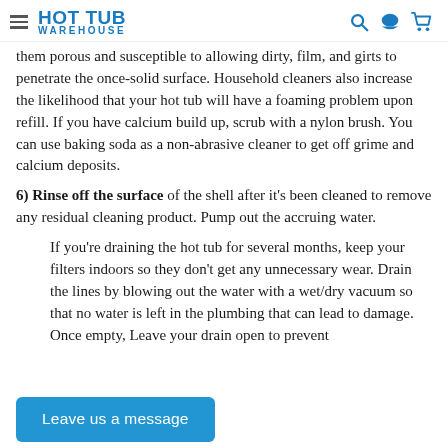HOT TUB WAREHOUSE
them porous and susceptible to allowing dirty, film, and girts to penetrate the once-solid surface. Household cleaners also increase the likelihood that your hot tub will have a foaming problem upon refill. If you have calcium build up, scrub with a nylon brush. You can use baking soda as a non-abrasive cleaner to get off grime and calcium deposits.
6) Rinse off the surface of the shell after it's been cleaned to remove any residual cleaning product. Pump out the accruing water.
If you're draining the hot tub for several months, keep your filters indoors so they don't get any unnecessary wear. Drain the lines by blowing out the water with a wet/dry vacuum so that no water is left in the plumbing that can lead to damage. Once empty, Leave your drain open to prevent
Leave us a message